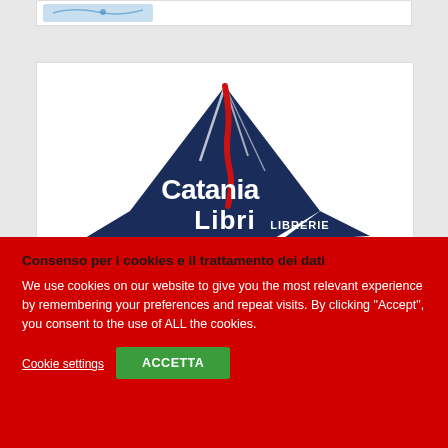[Figure (logo): Partial screenshot of a webpage with a map/image at top]
[Figure (logo): Catania Libri Librerie logo — dark navy mountain (Etna) with red lava stream, white text 'Catania Libri LIBRERIE']
Consenso per i cookies e il trattamento dei dati
We use cookies on our website to give you the most relevant experience by remembering your preferences and repeat visits. By clicking "Accept", you consent to the use of ALL the cookies.
Cookie settings
ACCETTA